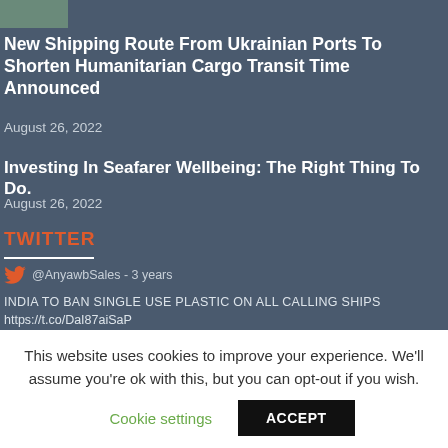[Figure (photo): Small thumbnail image at top left, partial view of what appears to be a marine/shipping scene]
New Shipping Route From Ukrainian Ports To Shorten Humanitarian Cargo Transit Time Announced
August 26, 2022
Investing In Seafarer Wellbeing: The Right Thing To Do.
August 26, 2022
TWITTER
@AnyawbSales - 3 years
INDIA TO BAN SINGLE USE PLASTIC ON ALL CALLING SHIPS
https://t.co/DaI87aiSaP
This website uses cookies to improve your experience. We'll assume you're ok with this, but you can opt-out if you wish.
Cookie settings
ACCEPT